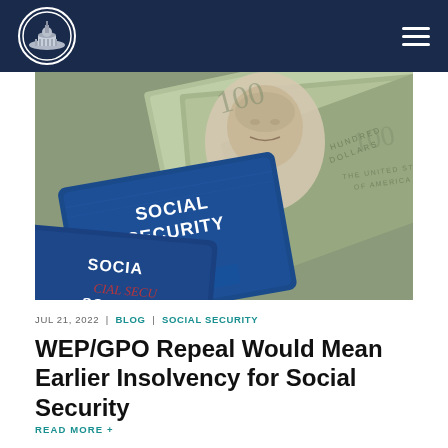[Figure (photo): Social Security cards overlapping with US hundred dollar bills in the background]
JUL 21, 2022 | BLOG | SOCIAL SECURITY
WEP/GPO Repeal Would Mean Earlier Insolvency for Social Security
READ MORE +